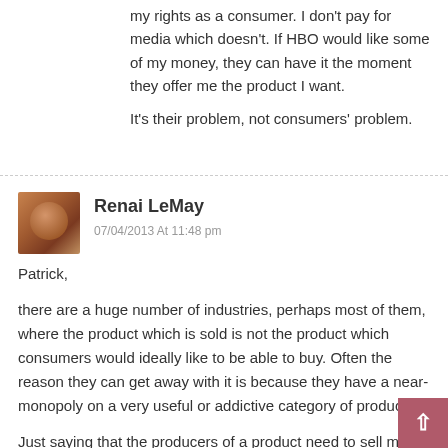my rights as a consumer. I don't pay for media which doesn't. If HBO would like some of my money, they can have it the moment they offer me the product I want.
It's their problem, not consumers' problem.
Renai LeMay
07/04/2013 At 11:48 pm
Patrick,
there are a huge number of industries, perhaps most of them, where the product which is sold is not the product which consumers would ideally like to be able to buy. Often the reason they can get away with it is because they have a near-monopoly on a very useful or addictive category of product.
Just saying that the producers of a product need to sell media in the way consumers want or suffer...